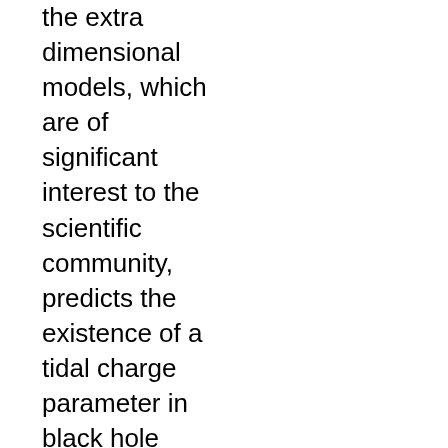the extra dimensional models, which are of significant interest to the scientific community, predicts the existence of a tidal charge parameter in black hole spacetimes. This tidal charge parameter can have an overall negative sign and is a distinctive signature of the extra dimensions. Motivated by this